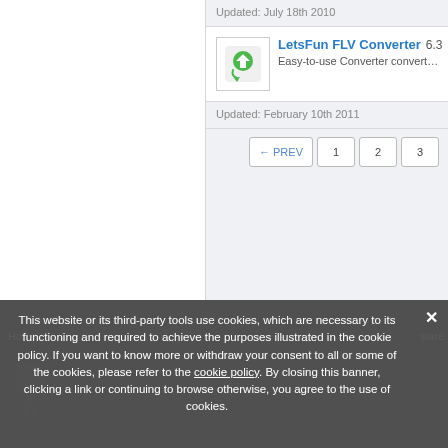Updated: July 18th 2010
LetsFun FLV Converter 6.3 Free
Easy-to-use Converter converts FLV to M...
Updated: February 10th 2011
← PREV  1  2  3
This website or its third-party tools use cookies, which are necessary to its functioning and required to achieve the purposes illustrated in the cookie policy. If you want to know more or withdraw your consent to all or some of the cookies, please refer to the cookie policy. By closing this banner, clicking a link or continuing to browse otherwise, you agree to the use of cookies.
Home
ware